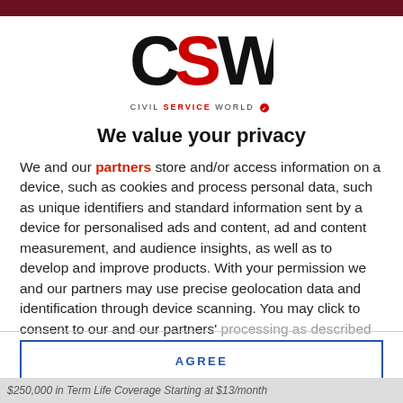[Figure (logo): CSW Civil Service World logo with large bold CSW text and 'CIVIL SERVICE WORLD' tagline below in small caps with red 'SERVICE']
We value your privacy
We and our partners store and/or access information on a device, such as cookies and process personal data, such as unique identifiers and standard information sent by a device for personalised ads and content, ad and content measurement, and audience insights, as well as to develop and improve products. With your permission we and our partners may use precise geolocation data and identification through device scanning. You may click to consent to our and our partners' processing as described above. Alternatively you may access more
AGREE
MORE OPTIONS
$250,000 in Term Life Coverage Starting at $13/month